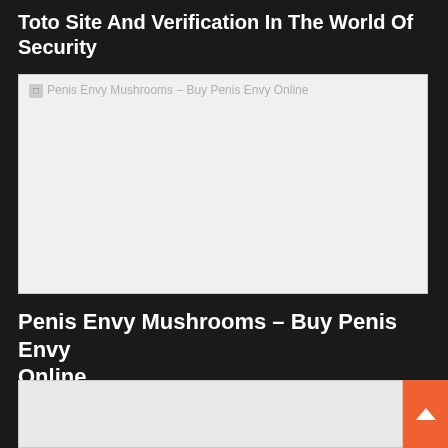Toto Site And Verification In The World Of Security
[Figure (photo): Broken image placeholder for 'Penis Envy Mushrooms – Buy Penis Envy Online']
Penis Envy Mushrooms – Buy Penis Envy Online
[Figure (photo): Partially visible image at the bottom of the page]
[Figure (other): Orange scroll-to-top button with upward arrow in bottom-right corner]